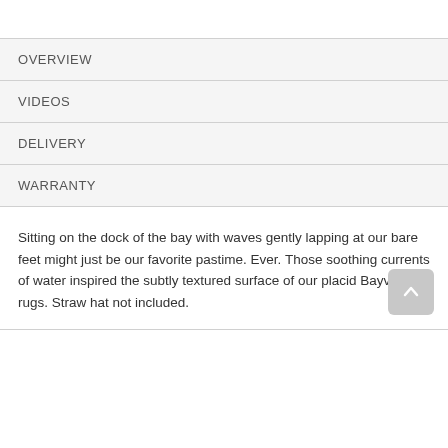OVERVIEW
VIDEOS
DELIVERY
WARRANTY
Sitting on the dock of the bay with waves gently lapping at our bare feet might just be our favorite pastime. Ever. Those soothing currents of water inspired the subtly textured surface of our placid Bayview rugs. Straw hat not included.